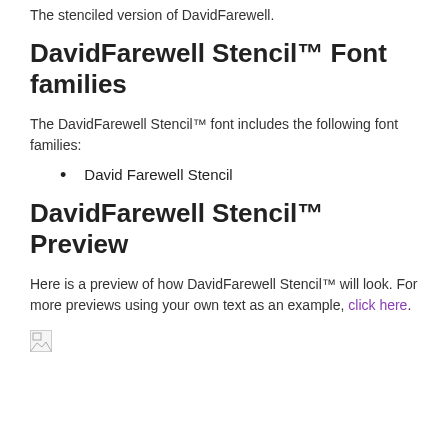The stenciled version of DavidFarewell.
DavidFarewell Stencil™ Font families
The DavidFarewell Stencil™ font includes the following font families:
David Farewell Stencil
DavidFarewell Stencil™ Preview
Here is a preview of how DavidFarewell Stencil™ will look. For more previews using your own text as an example, click here.
[Figure (other): Broken image placeholder icon]